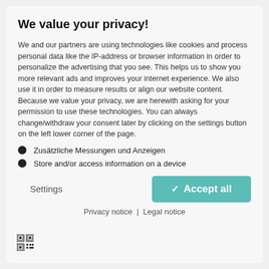We value your privacy!
We and our partners are using technologies like cookies and process personal data like the IP-address or browser information in order to personalize the advertising that you see. This helps us to show you more relevant ads and improves your internet experience. We also use it in order to measure results or align our website content. Because we value your privacy, we are herewith asking for your permission to use these technologies. You can always change/withdraw your consent later by clicking on the settings button on the left lower corner of the page.
Zusätzliche Messungen und Anzeigen
Store and/or access information on a device
Settings
✓ Accept all
Privacy notice | Legal notice
[Figure (other): QR code icon in bottom left corner]